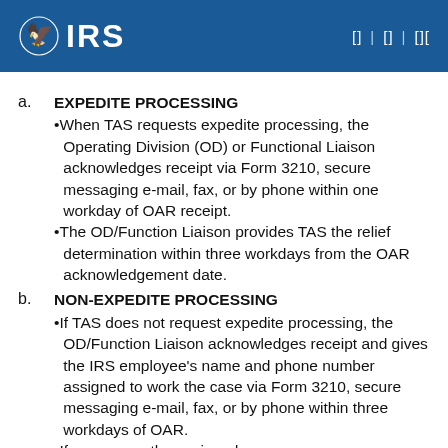IRS | à¡¼ã | à¡¼ã | à¡¼ãà¡
a. EXPEDITE PROCESSING
•When TAS requests expedite processing, the Operating Division (OD) or Functional Liaison acknowledges receipt via Form 3210, secure messaging e-mail, fax, or by phone within one workday of OAR receipt.
•The OD/Function Liaison provides TAS the relief determination within three workdays from the OAR acknowledgement date.
b. NON-EXPEDITE PROCESSING
•If TAS does not request expedite processing, the OD/Function Liaison acknowledges receipt and gives the IRS employee's name and phone number assigned to work the case via Form 3210, secure messaging e-mail, fax, or by phone within three workdays of OAR.
•If necessary, the assigned